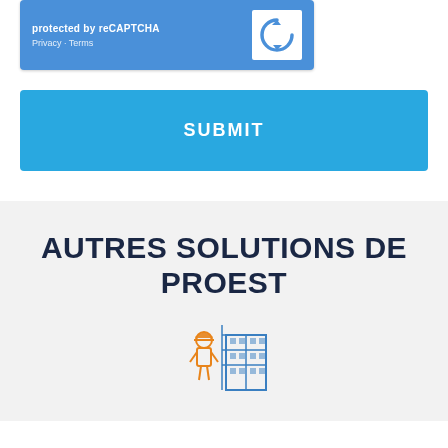[Figure (screenshot): reCAPTCHA widget with blue background showing 'protected by reCAPTCHA' text, Privacy - Terms links, and the reCAPTCHA logo on white background]
SUBMIT
AUTRES SOLUTIONS DE PROEST
[Figure (illustration): Construction worker with hard hat icon next to a building/factory icon, in orange and blue colors]